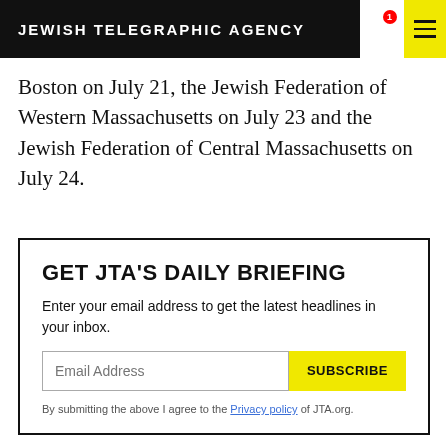JEWISH TELEGRAPHIC AGENCY
Boston on July 21, the Jewish Federation of Western Massachusetts on July 23 and the Jewish Federation of Central Massachusetts on July 24.
GET JTA'S DAILY BRIEFING
Enter your email address to get the latest headlines in your inbox.
By submitting the above I agree to the Privacy policy of JTA.org.